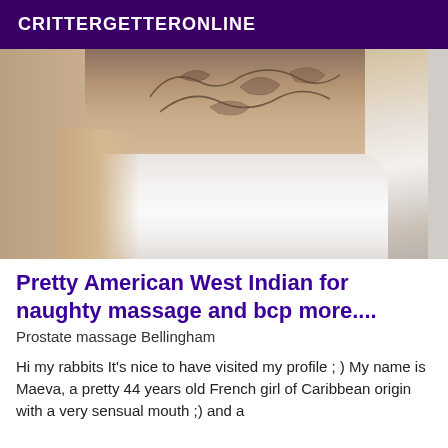CRITTERGETTERONLINE
[Figure (photo): Close-up photo of a person's lower back and buttocks wearing white underwear, with tattoos visible on the lower back.]
Pretty American West Indian for naughty massage and bcp more....
Prostate massage Bellingham
Hi my rabbits It's nice to have visited my profile ; ) My name is Maeva, a pretty 44 years old French girl of Caribbean origin with a very sensual mouth ;) and a